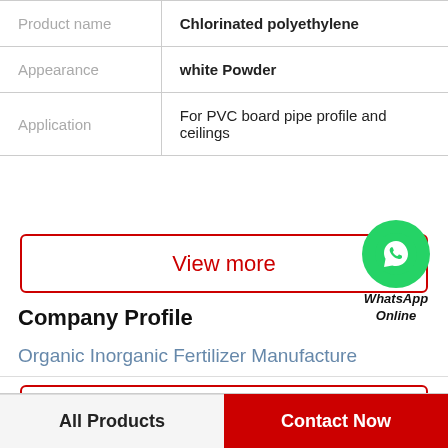|  |  |
| --- | --- |
| Product name | Chlorinated polyethylene |
| Appearance | white Powder |
| Application | For PVC board pipe profile and ceilings |
View more
[Figure (illustration): WhatsApp Online green phone bubble icon with text 'WhatsApp Online']
Company Profile
Organic Inorganic Fertilizer Manufacture
View more
All Products   Contact Now